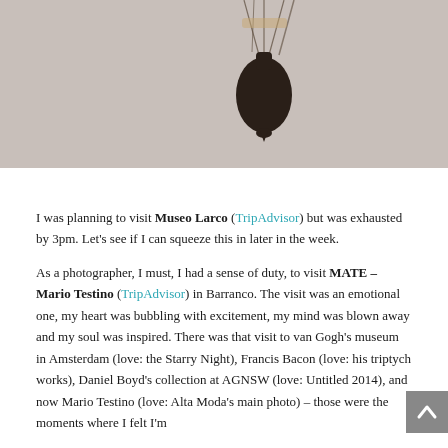[Figure (photo): A hanging lamp or vessel silhouetted against a light beige/grey background, suspended by chains or cords. The object appears dark brown/black and is centered-right in the frame.]
I was planning to visit Museo Larco (TripAdvisor) but was exhausted by 3pm. Let's see if I can squeeze this in later in the week.
As a photographer, I must, I had a sense of duty, to visit MATE – Mario Testino (TripAdvisor) in Barranco. The visit was an emotional one, my heart was bubbling with excitement, my mind was blown away and my soul was inspired. There was that visit to van Gogh's museum in Amsterdam (love: the Starry Night), Francis Bacon (love: his triptych works), Daniel Boyd's collection at AGNSW (love: Untitled 2014), and now Mario Testino (love: Alta Moda's main photo) – those were the moments where I felt I'm